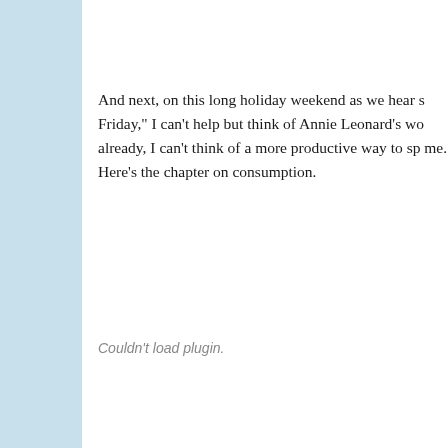And next, on this long holiday weekend as we hear s Friday," I can't help but think of Annie Leonard's wo already, I can't think of a more productive way to sp me. Here's the chapter on consumption.
Couldn't load plugin.